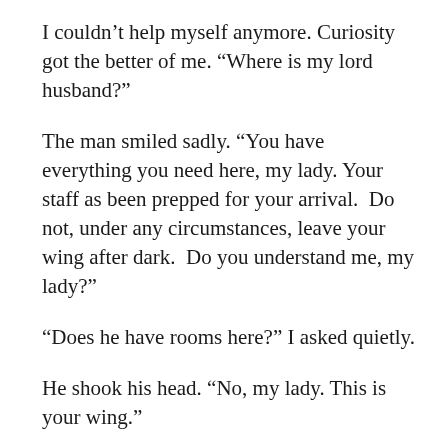I couldn't help myself anymore. Curiosity got the better of me. “Where is my lord husband?”
The man smiled sadly. “You have everything you need here, my lady. Your staff as been prepped for your arrival.  Do not, under any circumstances, leave your wing after dark.  Do you understand me, my lady?”
“Does he have rooms here?” I asked quietly.
He shook his head. “No, my lady. This is your wing.”
My wing.  Alone.